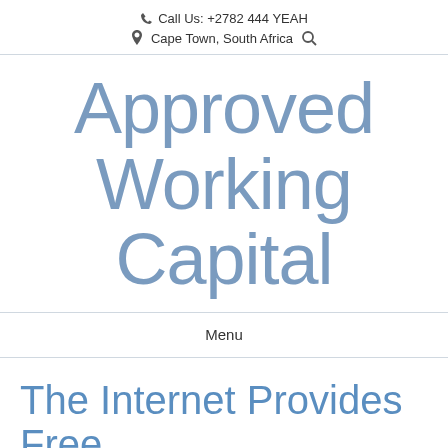Call Us: +2782 444 YEAH | Cape Town, South Africa
Approved Working Capital
Menu
The Internet Provides Free